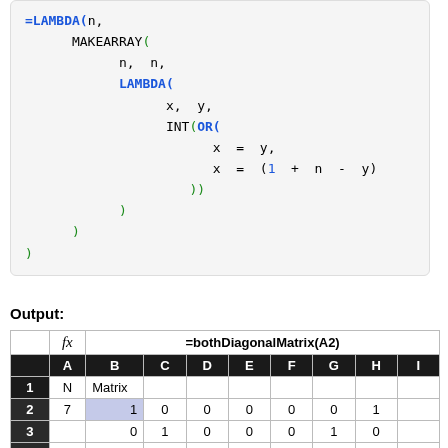[Figure (screenshot): Code block showing Excel LAMBDA/MAKEARRAY formula for bothDiagonalMatrix]
Output:
|  | fx | =bothDiagonalMatrix(A2) |  |  |  |  |  |  |
| --- | --- | --- | --- | --- | --- | --- | --- | --- |
|  | A | B | C | D | E | F | G | H | I |
| 1 | N | Matrix |  |  |  |  |  |  |  |
| 2 | 7 | 1 | 0 | 0 | 0 | 0 | 0 | 1 |  |
| 3 |  | 0 | 1 | 0 | 0 | 0 | 1 | 0 |  |
| 4 |  | 0 | 0 | 1 | 0 | 1 | 0 | 0 |  |